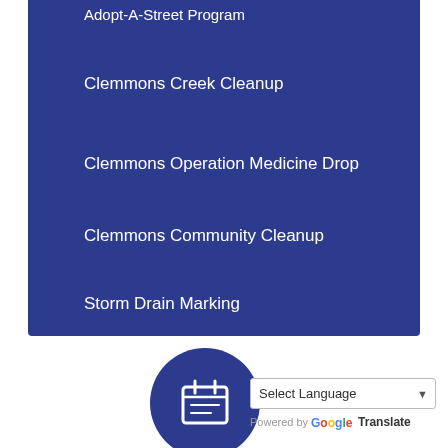Adopt-A-Street Program
Clemmons Creek Cleanup
Clemmons Operation Medicine Drop
Clemmons Community Cleanup
Storm Drain Marking
[Figure (illustration): Dark blue circle icon with a calendar/clipboard graphic in white]
[Figure (illustration): Dark blue circle icon partially visible on right side]
Select Language
Powered by Google Translate